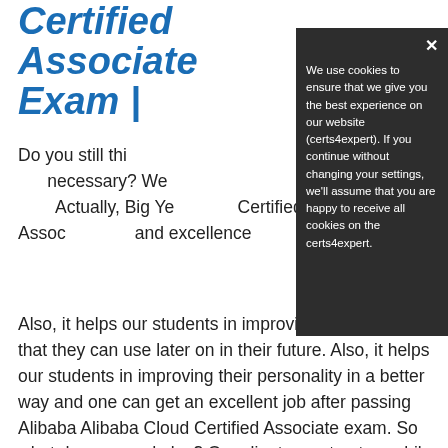Certified Associate Exam |
Do you still thi... necessary? We... Actually, Big Ye... Certified Assoc... and excellence...
[Figure (screenshot): Cookie consent modal overlay on a dark background. Text reads: 'We use cookies to ensure that we give you the best experience on our website (certs4expert). If you continue without changing your settings, we'll assume that you are happy to receive all cookies on the certs4expert.' with a close (x) button in the top right.]
Also, it helps our students in improving their abilities that they can use later on in their future. Also, it helps our students in improving their personality in a better way and one can get an excellent job after passing Alibaba Alibaba Cloud Certified Associate exam. So what do you need else? Our clients can trust us while buying Alibaba Cloud Certified Associate dumps questions 2022 because we ensure a 100% money back guarantee too. But we better know how to train our clients for